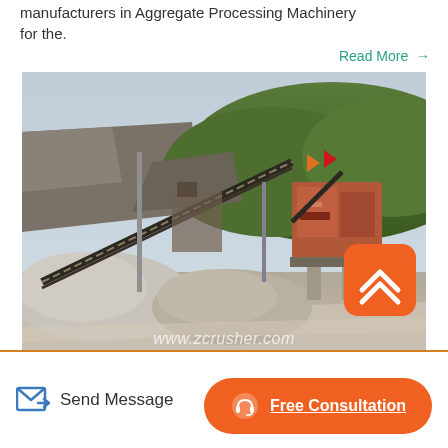manufacturers in Aggregate Processing Machinery for the.
Read More →
[Figure (photo): Photograph of an aggregate processing plant / quarry site showing conveyor belts, machinery, stockpiles of crushed stone and gravel, with green hills in the background. Watermark reads www.zcrusher.com]
Send Message
Free Consultation